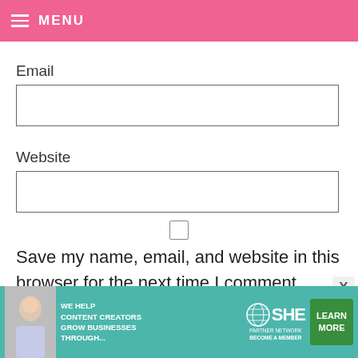MENU
Email
Website
Save my name, email, and website in this browser for the next time I comment.
[Figure (screenshot): Pink submit button partially visible at bottom]
[Figure (infographic): SHE Media Partner Network advertisement banner with teal background, woman photo, text: WE HELP CONTENT CREATORS GROW BUSINESSES THROUGH... and LEARN MORE button]